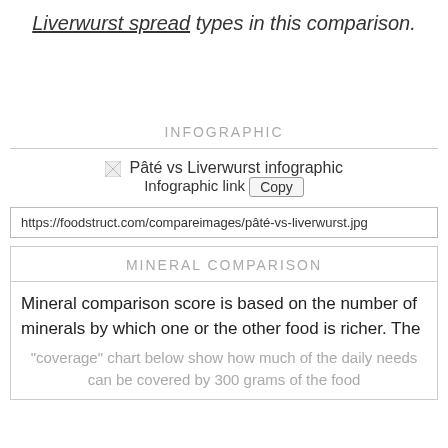Liverwurst spread types in this comparison.
INFOGRAPHIC
[Figure (infographic): Pâté vs Liverwurst infographic image placeholder with Infographic link and Copy button]
https://foodstruct.com/compareimages/pâté-vs-liverwurst.jpg
MINERAL COMPARISON
Mineral comparison score is based on the number of minerals by which one or the other food is richer. The
"coverage" chart below show how much of the daily needs can be covered by 300 grams of the food